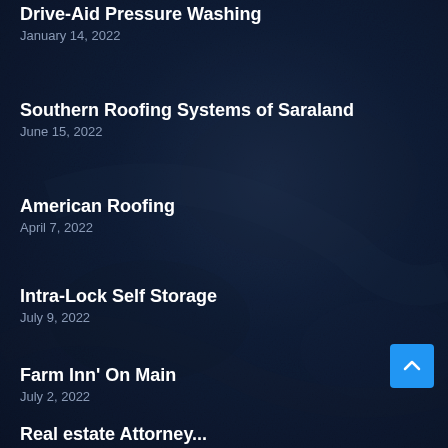Drive-Aid Pressure Washing
January 14, 2022
Southern Roofing Systems of Saraland
June 15, 2022
American Roofing
April 7, 2022
Intra-Lock Self Storage
July 9, 2022
Farm Inn' On Main
July 2, 2022
Real estate Attorney...